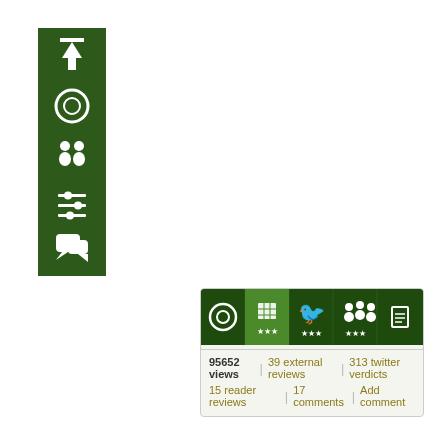[Figure (screenshot): Vertical dark green sidebar with white icons: up arrow, circle/camera, two people, sliders/controls, clapperboard/film, speech bubbles]
[Figure (screenshot): Horizontal widget panel with dark green tab bar showing icons (circle, grid/stars, Twitter bird/stars, group/stars, document), and stats below: 95652 views, 39 external reviews, 313 twitter verdicts, 15 reader reviews, 17 comments, Add comment]